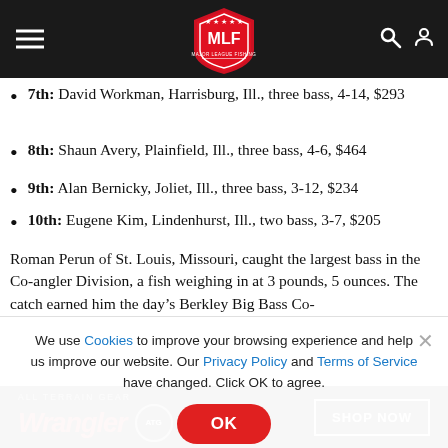MLF Major League Fishing navigation header
7th: David Workman, Harrisburg, Ill., three bass, 4-14, $293
8th: Shaun Avery, Plainfield, Ill., three bass, 4-6, $464
9th: Alan Bernicky, Joliet, Ill., three bass, 3-12, $234
10th: Eugene Kim, Lindenhurst, Ill., two bass, 3-7, $205
Roman Perun of St. Louis, Missouri, caught the largest bass in the Co-angler Division, a fish weighing in at 3 pounds, 5 ounces. The catch earned him the day’s Berkley Big Bass Co-
We use Cookies to improve your browsing experience and help us improve our website. Our Privacy Policy and Terms of Service have changed. Click OK to agree.
[Figure (logo): Wrangler All Terrain Gear advertisement banner with SHOP NOW button]